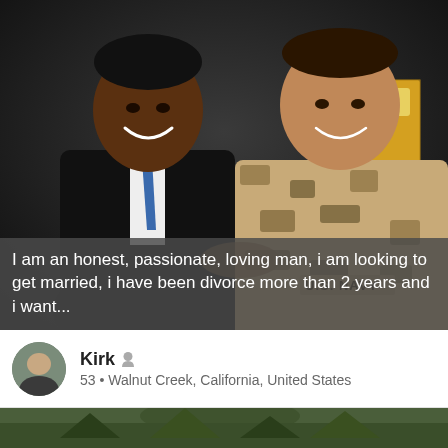[Figure (photo): Photo of two men posing together. On the left, a man in a dark suit and blue tie, smiling broadly. On the right, a man in a U.S. Navy desert camouflage uniform. In the background there is a partial sign reading 'SECU' and what appears to be a flag.]
I am an honest, passionate, loving man, i am looking to get married, i have been divorce more than 2 years and i want...
Kirk
53 • Walnut Creek, California, United States
[Figure (photo): Bottom portion showing a second photo, partially visible, appears to show an outdoor forested scene.]